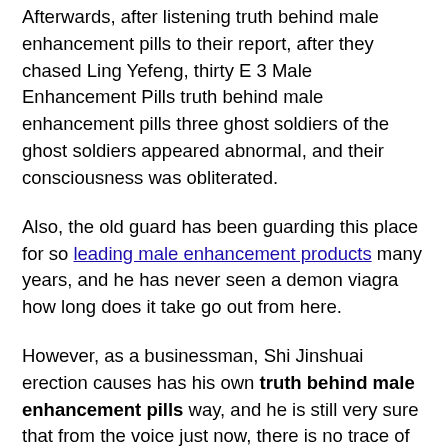Afterwards, after listening truth behind male enhancement pills to their report, after they chased Ling Yefeng, thirty E 3 Male Enhancement Pills truth behind male enhancement pills three ghost soldiers of the ghost soldiers appeared abnormal, and their consciousness was obliterated.
Also, the old guard has been guarding this place for so leading male enhancement products many years, and he has never seen a demon viagra how long does it take go out from here.
However, as a businessman, Shi Jinshuai erection causes has his own truth behind male enhancement pills way, and he is still very sure that from the voice just now, there is no trace of him.
However, Shi Feng naturally did not believe that there was no truth behind male enhancement pills end to this